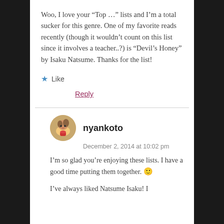Woo, I love your “Top …” lists and I’m a total sucker for this genre. One of my favorite reads recently (though it wouldn’t count on this list since it involves a teacher..?) is “Devil’s Honey” by Isaku Natsume. Thanks for the list!
★ Like
Reply
nyankoto
December 2, 2014 at 10:02 pm
I’m so glad you’re enjoying these lists. I have a good time putting them together. 🙂
I’ve always liked Natsume Isaku! I